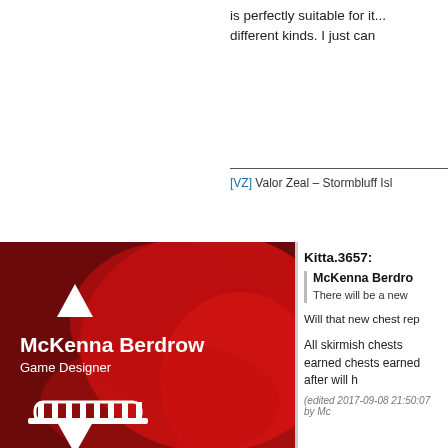is perfectly suitable for it... different kinds. I just can
[VZ] Valor Zeal – Stormbluff Isl
[Figure (illustration): McKenna Berdrow Game Designer profile banner with red paintbrush splash background, white triangle up icon, arena/colosseum icon, white name and title text, and triangle down icon]
Kitta.3657:
McKenna Berdro
There will be a new
Will that new chest rep
All skirmish chests earned chests earned after will h
(edited 2017-09-08 21:50:07 by Mc
Serenity 6135
Rising Dusk.2408:
DBZVelena.5186